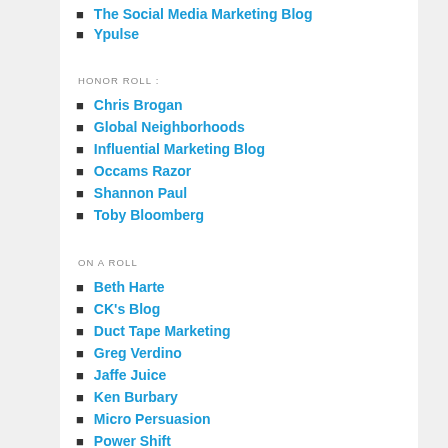The Social Media Marketing Blog
Ypulse
HONOR ROLL :
Chris Brogan
Global Neighborhoods
Influential Marketing Blog
Occams Razor
Shannon Paul
Toby Bloomberg
ON A ROLL
Beth Harte
CK's Blog
Duct Tape Marketing
Greg Verdino
Jaffe Juice
Ken Burbary
Micro Persuasion
Power Shift